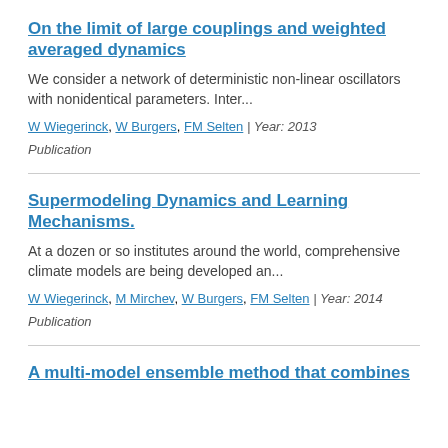On the limit of large couplings and weighted averaged dynamics
We consider a network of deterministic non-linear oscillators with nonidentical parameters. Inter...
W Wiegerinck, W Burgers, FM Selten | Year: 2013
Publication
Supermodeling Dynamics and Learning Mechanisms.
At a dozen or so institutes around the world, comprehensive climate models are being developed an...
W Wiegerinck, M Mirchev, W Burgers, FM Selten | Year: 2014
Publication
A multi-model ensemble method that combines